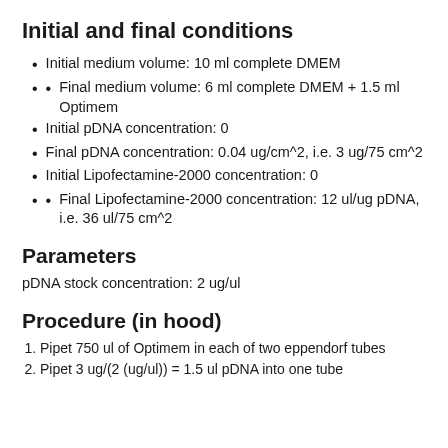Initial and final conditions
Initial medium volume: 10 ml complete DMEM
Final medium volume: 6 ml complete DMEM + 1.5 ml Optimem
Initial pDNA concentration: 0
Final pDNA concentration: 0.04 ug/cm^2, i.e. 3 ug/75 cm^2
Initial Lipofectamine-2000 concentration: 0
Final Lipofectamine-2000 concentration: 12 ul/ug pDNA, i.e. 36 ul/75 cm^2
Parameters
pDNA stock concentration: 2 ug/ul
Procedure (in hood)
Pipet 750 ul of Optimem in each of two eppendorf tubes
Pipet 3 ug/(2 (ug/ul)) = 1.5 ul pDNA into one tube